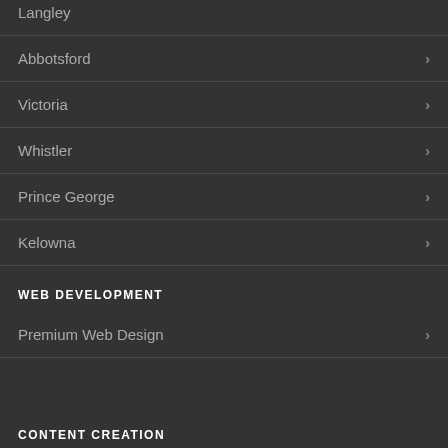Langley
Abbotsford
Victoria
Whistler
Prince George
Kelowna
WEB DEVELOPMENT
Premium Web Design
CONTENT CREATION